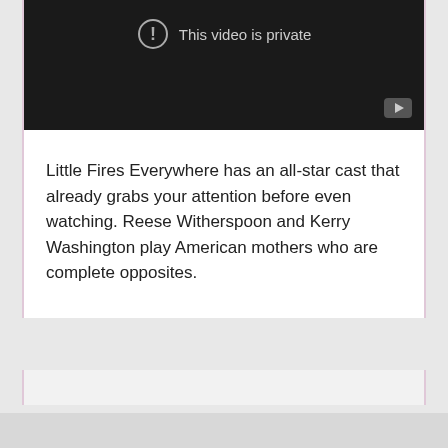[Figure (screenshot): A private YouTube video embed placeholder showing a circle with exclamation mark icon and the text 'This video is private' on a dark background, with a small YouTube play button icon in the bottom right corner.]
Little Fires Everywhere has an all-star cast that already grabs your attention before even watching. Reese Witherspoon and Kerry Washington play American mothers who are complete opposites.